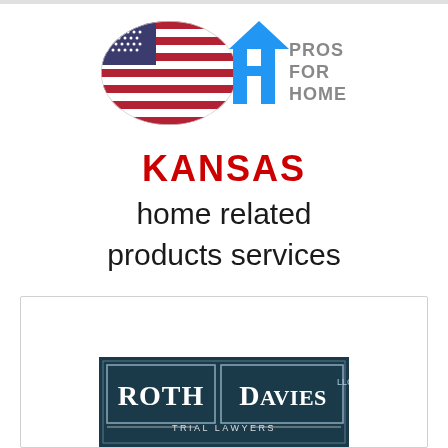[Figure (logo): Pros For Home logo with American flag capsule shape and blue house/building icon, with text PROS FOR HOME in grey]
KANSAS
home related products services
[Figure (logo): Roth Davies LLC Trial Lawyers logo on dark blue/teal background with bordered rectangle design]